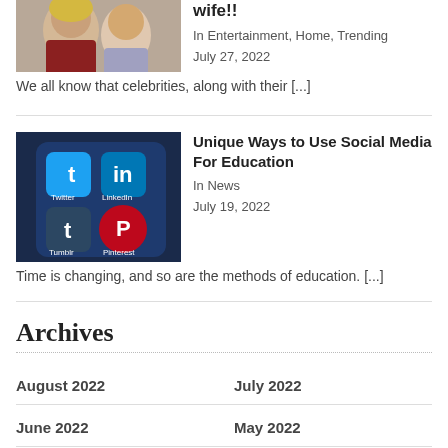[Figure (photo): Partial photo of a man and woman (celebrities), cropped at top of page]
wife!!
In Entertainment, Home, Trending
July 27, 2022
We all know that celebrities, along with their [...]
[Figure (photo): Photo of a smartphone screen showing social media app icons including Twitter, LinkedIn, Tumblr, Pinterest]
Unique Ways to Use Social Media For Education
In News
July 19, 2022
Time is changing, and so are the methods of education. [...]
Archives
August 2022
July 2022
June 2022
May 2022
April 2022
March 2022